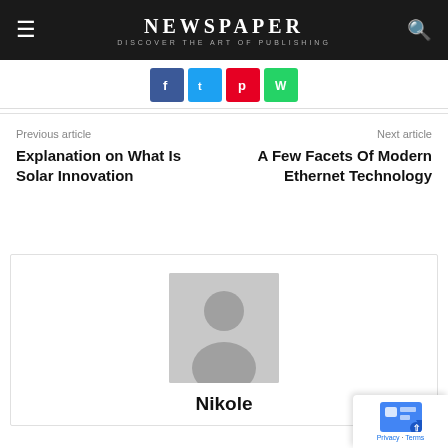NEWSPAPER — DISCOVER THE ART OF PUBLISHING
[Figure (other): Social share buttons row: Facebook (blue), Twitter (light blue), Pinterest (red), WhatsApp (green)]
Previous article
Explanation on What Is Solar Innovation
Next article
A Few Facets Of Modern Ethernet Technology
[Figure (photo): Author profile card with grey placeholder avatar image and name 'Nikole']
Nikole